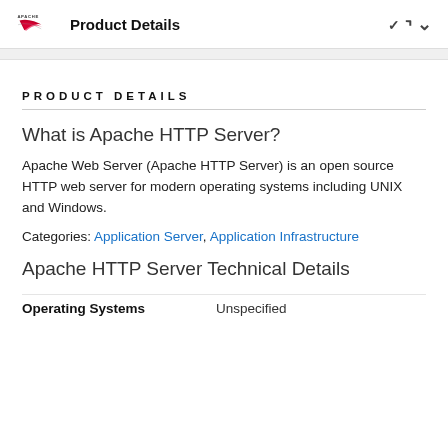Product Details
PRODUCT DETAILS
What is Apache HTTP Server?
Apache Web Server (Apache HTTP Server) is an open source HTTP web server for modern operating systems including UNIX and Windows.
Categories: Application Server, Application Infrastructure
Apache HTTP Server Technical Details
|  |  |
| --- | --- |
| Operating Systems | Unspecified |